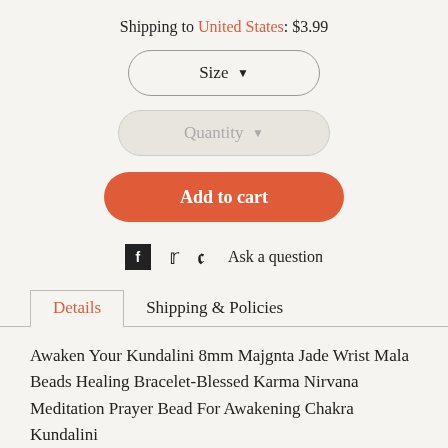Shipping to United States: $3.99
[Figure (other): Size dropdown button with rounded pill shape and border]
[Figure (other): Quantity dropdown button with rounded pill shape and light grey background]
[Figure (other): Add to cart button with orange/red rounded pill shape]
Facebook icon  Twitter icon  Pinterest icon  Ask a question
Details  Shipping & Policies (tabs)
Awaken Your Kundalini 8mm Majgnta Jade Wrist Mala Beads Healing Bracelet-Blessed Karma Nirvana Meditation Prayer Bead For Awakening Chakra Kundalini